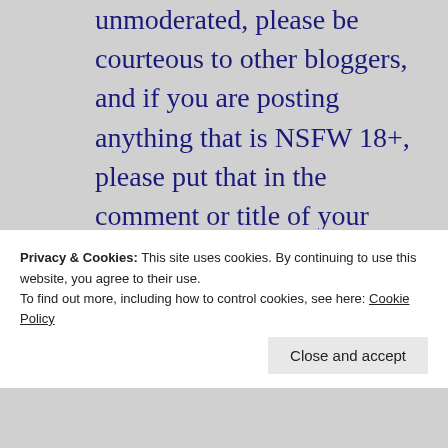unmoderated, please be courteous to other bloggers, and if you are posting anything that is NSFW 18+, please put that in the comment or title of your blog.

If you wish to report inappropriate comments, posts
Privacy & Cookies: This site uses cookies. By continuing to use this website, you agree to their use.
To find out more, including how to control cookies, see here: Cookie Policy
Close and accept